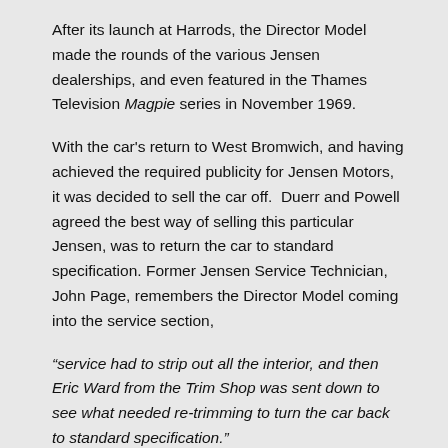After its launch at Harrods, the Director Model made the rounds of the various Jensen dealerships, and even featured in the Thames Television Magpie series in November 1969.
With the car's return to West Bromwich, and having achieved the required publicity for Jensen Motors, it was decided to sell the car off.  Duerr and Powell agreed the best way of selling this particular Jensen, was to return the car to standard specification. Former Jensen Service Technician, John Page, remembers the Director Model coming into the service section,
“service had to strip out all the interior, and then Eric Ward from the Trim Shop was sent down to see what needed re-trimming to turn the car back to standard specification.”
The Director Model was stripped of its ‘office’ during December 1969, and trimmed back to normal Interceptor specification, with various items of the ‘office’ being commandeered as souvenirs by employees at Jensen Motors. The attache case was commandeered by the then Service Manager, David Millard.